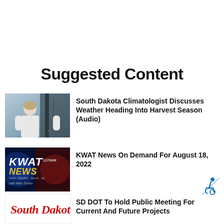Suggested Content
South Dakota Climatologist Discusses Weather Heading Into Harvest Season (Audio)
[Figure (photo): Photo of a woman in a white shirt standing in front of camera equipment outdoors]
KWAT News On Demand For August 18, 2022
[Figure (logo): KWAT 1170AM News logo with blue and red background, text: KWAT NEWS with Mike Turner]
[Figure (illustration): Accessibility wheelchair icon]
SD DOT To Hold Public Meeting For Current And Future Projects
[Figure (logo): South Dakota script logo in red cursive]